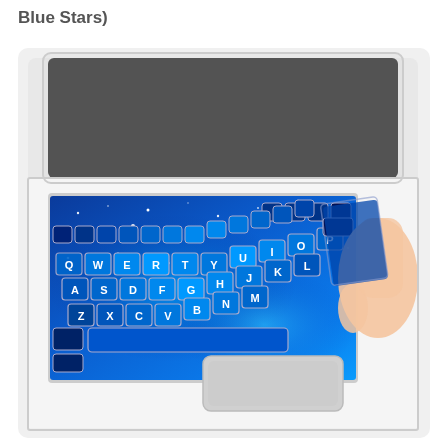Blue Stars)
[Figure (photo): A white MacBook laptop with a blue galaxy/star pattern silicone keyboard cover being placed on the keyboard by a hand. The keyboard cover displays letters Q, W, E, R, T, Y, U, I, O, P, A, S, D, F, G, H, J, K, L, Z, X, C, V, B, N, M on blue starry-night patterned keys with silver/white edges.]